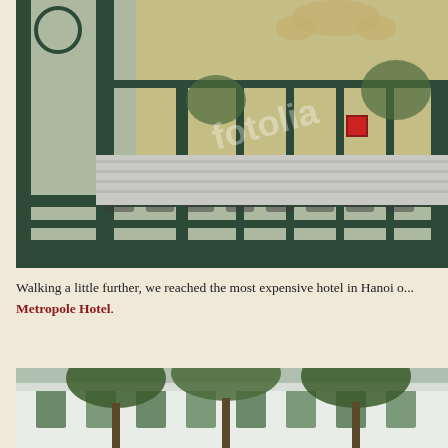[Figure (photo): Close-up photograph of ornate dark green wrought-iron gate with decorative metalwork, viewed from street level. Behind the gate are steps, greenery, and a yellow building. A watermark is visible on the image.]
Walking a little further, we reached the most expensive hotel in Hanoi or... Metropole Hotel.
[Figure (photo): Partial view of a white colonial-style building (Metropole Hotel) with green trees in front, photographed from street level.]